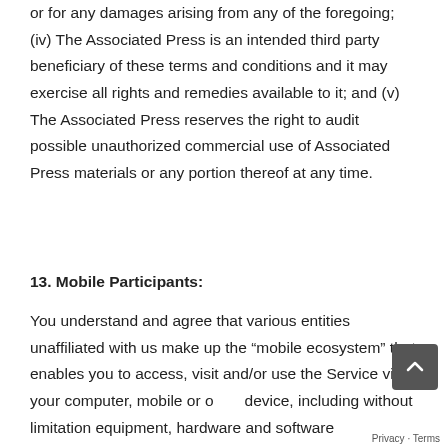or for any damages arising from any of the foregoing; (iv) The Associated Press is an intended third party beneficiary of these terms and conditions and it may exercise all rights and remedies available to it; and (v) The Associated Press reserves the right to audit possible unauthorized commercial use of Associated Press materials or any portion thereof at any time.
13. Mobile Participants:
You understand and agree that various entities unaffiliated with us make up the “mobile ecosystem” that enables you to access, visit and/or use the Service via your computer, mobile or other device, including without limitation equipment, hardware and software manufacturers and